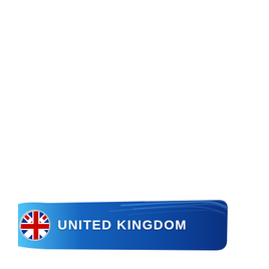[Figure (infographic): A blue gradient banner with brush-stroke style decoration, featuring a circular UK flag icon on the left and bold white text reading 'UNITED KINGDOM']